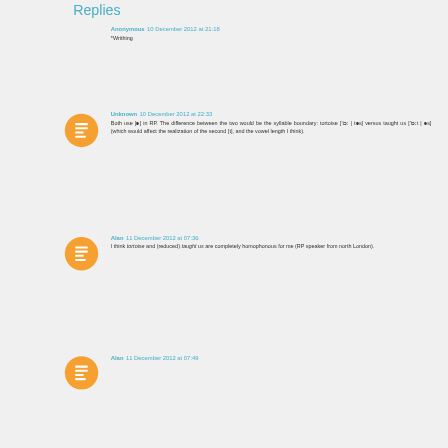Replies
Anonymous  10 December 2012 at 21:18
*Writhing
Unknown  10 December 2012 at 22:33
Both use [ə] in RP. The difference between the two would be the syllable boundary: tortoise ['tɔː | təs] versus taught us ['tɔːt | əs] (which would affect the realization of the second [t], and the vowel length I think).
Alan  11 December 2012 at 07:36
I think tortoise and (reduced) taught us are completely homophonous for me (RP speaker from north London).
Alan  11 December 2012 at 07:49